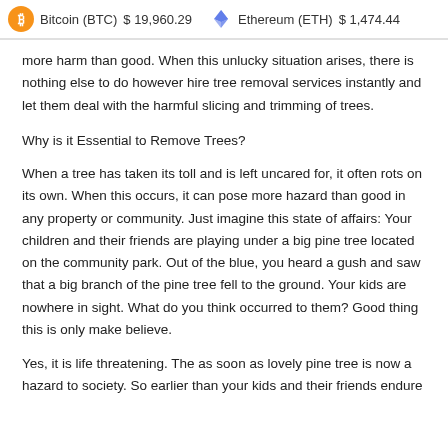Bitcoin (BTC) $19,960.29   Ethereum (ETH) $1,474.44
more harm than good. When this unlucky situation arises, there is nothing else to do however hire tree removal services instantly and let them deal with the harmful slicing and trimming of trees.
Why is it Essential to Remove Trees?
When a tree has taken its toll and is left uncared for, it often rots on its own. When this occurs, it can pose more hazard than good in any property or community. Just imagine this state of affairs: Your children and their friends are playing under a big pine tree located on the community park. Out of the blue, you heard a gush and saw that a big branch of the pine tree fell to the ground. Your kids are nowhere in sight. What do you think occurred to them? Good thing this is only make believe.
Yes, it is life threatening. The as soon as lovely pine tree is now a hazard to society. So earlier than your kids and their friends endure